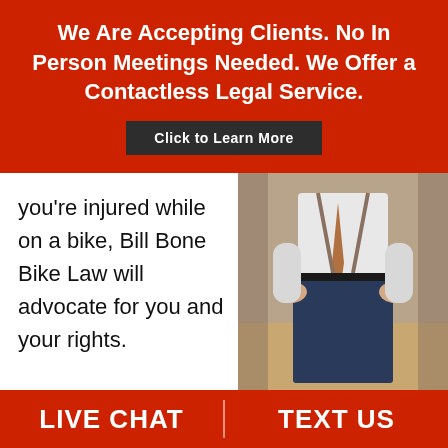We Are Accepting Clients. No In Person Meetings Needed. We Offer a Contactless Legal Service.
Click to Learn More
you're injured while on a bike, Bill Bone Bike Law will advocate for you and your rights.
[Figure (photo): A person in a white shirt and blue pants standing with hands on hips, partial body shot from torso down]
As your personal injury attorney, whether you've been in a bicycle-vehicle collision or have been the victim of driver road rage, he'll navigate
LIVE CHAT
TEXT US